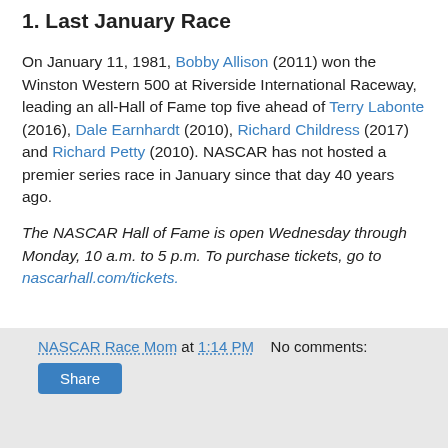1. Last January Race
On January 11, 1981, Bobby Allison (2011) won the Winston Western 500 at Riverside International Raceway, leading an all-Hall of Fame top five ahead of Terry Labonte (2016), Dale Earnhardt (2010), Richard Childress (2017) and Richard Petty (2010). NASCAR has not hosted a premier series race in January since that day 40 years ago.
The NASCAR Hall of Fame is open Wednesday through Monday, 10 a.m. to 5 p.m. To purchase tickets, go to nascarhall.com/tickets.
Source
NASCAR Race Mom at 1:14 PM   No comments:   Share